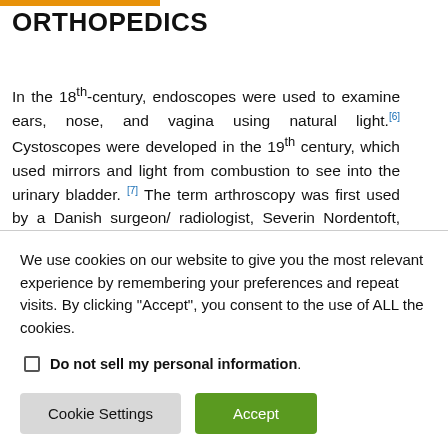ORTHOPEDICS
In the 18th-century, endoscopes were used to examine ears, nose, and vagina using natural light.[6] Cystoscopes were developed in the 19th century, which used mirrors and light from combustion to see into the urinary bladder.[7] The term arthroscopy was first used by a Danish surgeon/ radiologist, Severin Nordentoft, who presented a paper at the 41st congress of the German Society of Surgery at Berlin in 1912; he used an endoscope similar to the thoracoscope to diagnose a meniscal tear of the knee.[8] Subsequently, in 1918 a Japanese surgeon, Kenji
We use cookies on our website to give you the most relevant experience by remembering your preferences and repeat visits. By clicking "Accept", you consent to the use of ALL the cookies.
Do not sell my personal information.